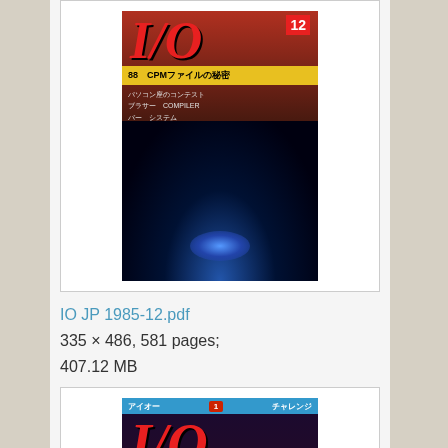[Figure (photo): Cover of IO JP 1985-12 magazine showing I/O title in red italic letters, yellow bar with Japanese text, and sci-fi artwork with blue glowing orb]
IO JP 1985-12.pdf
335 × 486, 581 pages;
407.12 MB
[Figure (photo): Cover of IO JP 1986-01 magazine showing I/O title in red italic letters on dark background with robot/mecha sci-fi artwork]
IO JP 1986-01.pdf
346 × 484, 599 pages;
445.64 MB
[Figure (photo): Partial view of cover of next IO JP magazine issue]